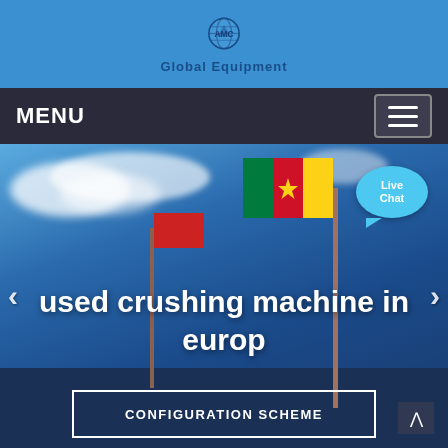[Figure (logo): AMC Global company logo with globe icon on blue header bar]
MENU
[Figure (photo): Outdoor photo with blue sky, clouds, flagpoles with Cameroon flag and red flag, building silhouette in background. Overlay text: 'used crushing machine in europ'. Live Chat bubble in top right. Carousel left and right arrows. CONFIGURATION SCHEME button at bottom.]
used crushing machine in europ
CONFIGURATION SCHEME